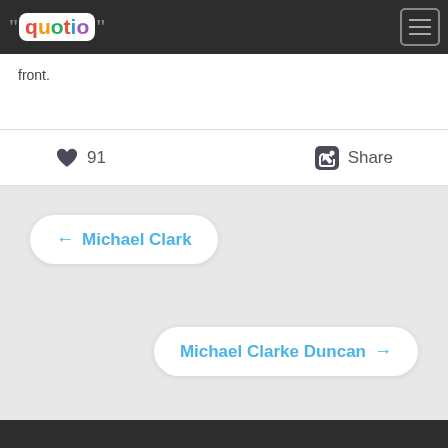[Figure (logo): Quotio logo with colorful letters and quotation marks on dark top navigation bar]
front.
♥ 91   Share
← Michael Clark
Michael Clarke Duncan →